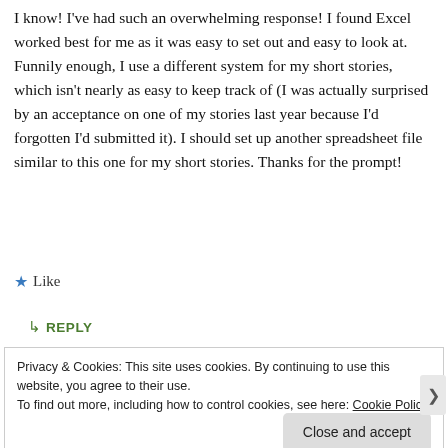I know! I've had such an overwhelming response! I found Excel worked best for me as it was easy to set out and easy to look at. Funnily enough, I use a different system for my short stories, which isn't nearly as easy to keep track of (I was actually surprised by an acceptance on one of my stories last year because I'd forgotten I'd submitted it). I should set up another spreadsheet file similar to this one for my short stories. Thanks for the prompt!
★ Like
↳ REPLY
Privacy & Cookies: This site uses cookies. By continuing to use this website, you agree to their use. To find out more, including how to control cookies, see here: Cookie Policy